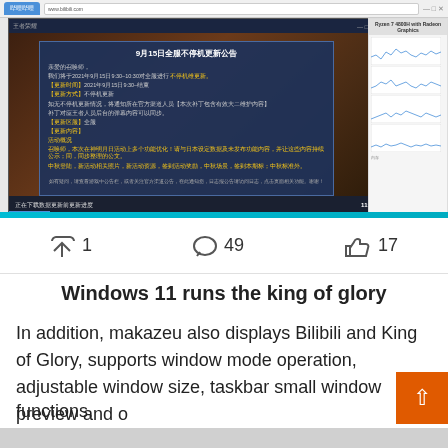[Figure (screenshot): Screenshot of a Windows computer showing a game client (King of Glory) with a Chinese maintenance announcement notification overlay, and a task manager/performance graph panel on the right side.]
1  49  17
Windows 11 runs the king of glory
In addition, makazeu also displays Bilibili and King of Glory, supports window mode operation, adjustable window size, taskbar small window preview and other functions.